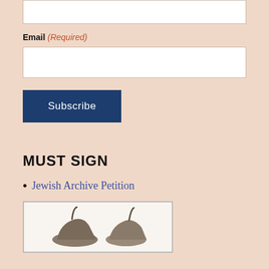Email (Required)
Subscribe
MUST SIGN
Jewish Archive Petition
[Figure (photo): Photo of two iron-shaped objects resembling clothing irons, viewed from above, on a white background inside a bordered box.]